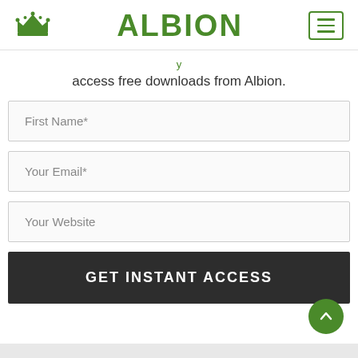ALBION
access free downloads from Albion.
First Name*
Your Email*
Your Website
GET INSTANT ACCESS